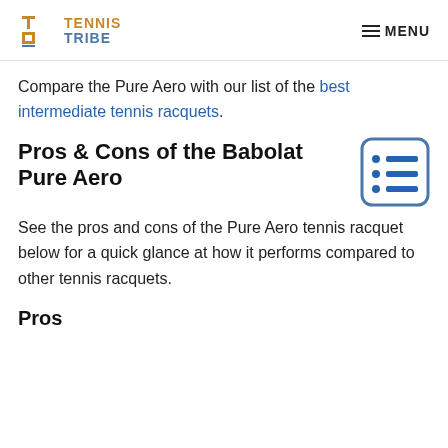TENNIS TRIBE — MENU
Compare the Pure Aero with our list of the best intermediate tennis racquets.
Pros & Cons of the Babolat Pure Aero
[Figure (other): Table of contents icon — a rounded rectangle with three bullet-list rows in blue]
See the pros and cons of the Pure Aero tennis racquet below for a quick glance at how it performs compared to other tennis racquets.
Pros